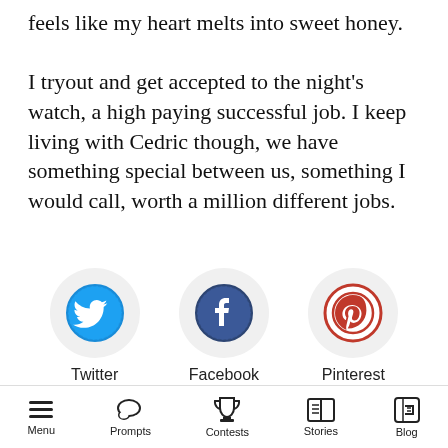feels like my heart melts into sweet honey. I tryout and get accepted to the night's watch, a high paying successful job. I keep living with Cedric though, we have something special between us, something I would call, worth a million different jobs.
[Figure (illustration): Three social media icons in gray circular backgrounds: Twitter (blue bird icon), Facebook (blue f icon), Pinterest (red P icon), each labeled below]
Report                    November 15, 2019 18:22
[Figure (infographic): Bottom navigation bar with icons and labels: Menu (hamburger), Prompts (speech bubble), Contests (trophy), Stories (book), Blog (arrow box)]